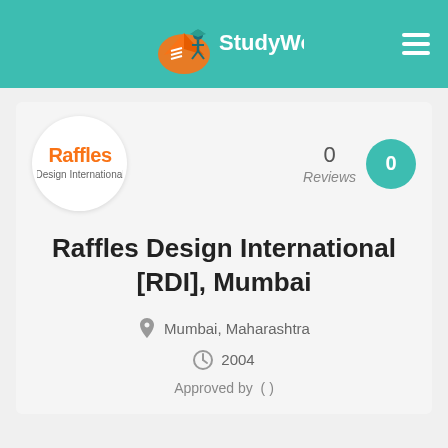StudyWoo
[Figure (logo): Raffles Design International logo - orange and blue text on white circle]
0
Reviews
Raffles Design International [RDI], Mumbai
Mumbai, Maharashtra
2004
Approved by  ( )